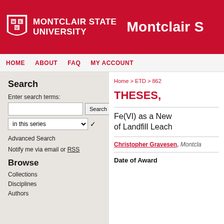MONTCLAIR STATE UNIVERSITY | Montclair S
HOME  ABOUT  FAQ  MY ACCOUNT
Search
Enter search terms:
in this series
Advanced Search
Notify me via email or RSS
Browse
Collections
Disciplines
Authors
Home > ETD > 862
THESES,
Fe(VI) as a New of Landfill Leach
Christopher Gravesen, Montcla
Date of Award